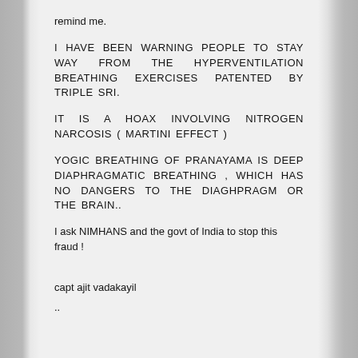remind me.
I HAVE BEEN WARNING PEOPLE TO STAY WAY FROM THE HYPERVENTILATION BREATHING EXERCISES PATENTED BY TRIPLE SRI.
IT IS A HOAX INVOLVING NITROGEN NARCOSIS ( MARTINI EFFECT )
YOGIC BREATHING OF PRANAYAMA IS DEEP DIAPHRAGMATIC BREATHING , WHICH HAS NO DANGERS TO THE DIAGHPRAGM OR THE BRAIN..
I ask NIMHANS and the govt of India to stop this fraud !
capt ajit vadakayil
..